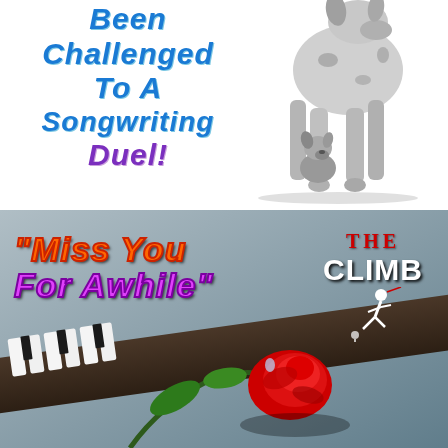[Figure (illustration): Top half: white background with large text 'Been Challenged To A Songwriting Duel!' in bold blue italic font on the left, and a black-and-white photo of a large Great Dane dog standing with a small puppy sitting beneath it on the right.]
[Figure (illustration): Bottom half: gray-toned photo background of a red rose on a piano keyboard. Overlaid text reads '"Miss You For Awhile"' in stylized orange/purple/orange font on the left, and 'THE CLIMB' logo in red and white bold text with a silhouette of a climbing figure on the upper right.]